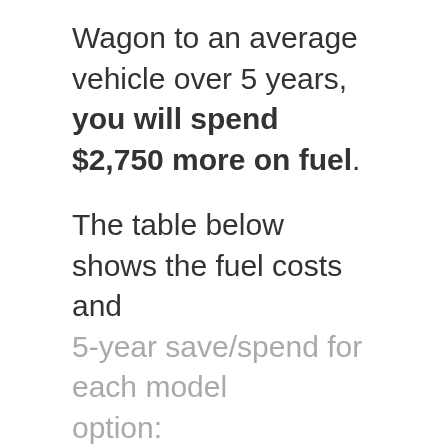Wagon to an average vehicle over 5 years, you will spend $2,750 more on fuel.
The table below shows the fuel costs and 5-year save/spend for each model option: